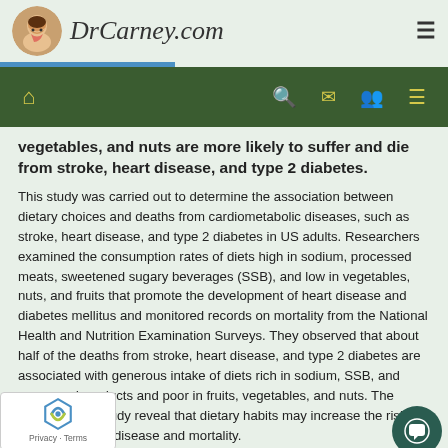DrCarney.com
vegetables, and nuts are more likely to suffer and die from stroke, heart disease, and type 2 diabetes.
This study was carried out to determine the association between dietary choices and deaths from cardiometabolic diseases, such as stroke, heart disease, and type 2 diabetes in US adults. Researchers examined the consumption rates of diets high in sodium, processed meats, sweetened sugary beverages (SSB), and low in vegetables, nuts, and fruits that promote the development of heart disease and diabetes mellitus and monitored records on mortality from the National Health and Nutrition Examination Surveys. They observed that about half of the deaths from stroke, heart disease, and type 2 diabetes are associated with generous intake of diets rich in sodium, SSB, and processed products and poor in fruits, vegetables, and nuts. The results of this study reveal that dietary habits may increase the risk of cardiometabolic disease and mortality.